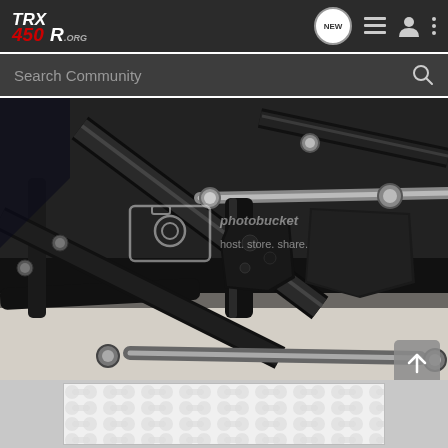TRX450R.org — navigation header with logo and icons (NEW, list, user, more)
Search Community
[Figure (photo): Close-up photo of a black powder-coated ATV frame (TRX450R) showing the rear suspension linkage, chassis tubes, steering components, and chromed rod ends. A Photobucket watermark reads 'host. store. share.' overlaid in the center of the image.]
[Figure (photo): Partial bottom thumbnail strip showing a light-colored image with a repeating circular/hexagonal pattern background, likely a forum thumbnail or avatar placeholder.]